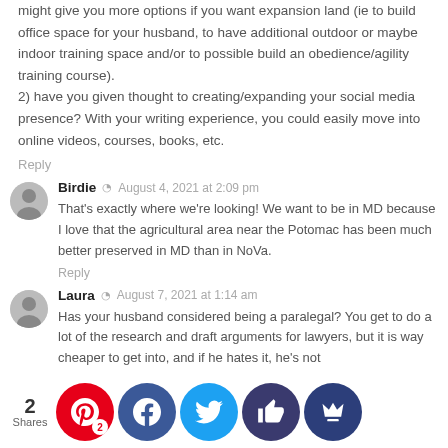might give you more options if you want expansion land (ie to build office space for your husband, to have additional outdoor or maybe indoor training space and/or to possible build an obedience/agility training course).
2) have you given thought to creating/expanding your social media presence? With your writing experience, you could easily move into online videos, courses, books, etc.
Reply
Birdie  August 4, 2021 at 2:09 pm
That's exactly where we're looking! We want to be in MD because I love that the agricultural area near the Potomac has been much better preserved in MD than in NoVa.
Reply
Laura  August 7, 2021 at 1:14 am
Has your husband considered being a paralegal? You get to do a lot of the research and draft arguments for lawyers, but it is way cheaper to get into, and if he hates it, he's not much more time. state different ification requirements. it might be worth looking